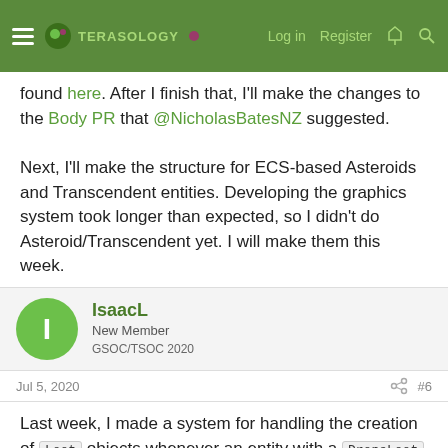Terasology — Log in  Register
found here. After I finish that, I'll make the changes to the Body PR that @NicholasBatesNZ suggested.

Next, I'll make the structure for ECS-based Asteroids and Transcendent entities. Developing the graphics system took longer than expected, so I didn't do Asteroid/Transcendent yet. I will make them this week.
IsaacL
New Member
GSOC/TSOC 2020
Jul 5, 2020   #6
Last week, I made a system for handling the creation of Loot objects whenever an entity with a DropsLoot component dies. The PR for that is here. As of now, the Loot PR doesn't work, because the EntitySystemManager doesn't inject the instance of SolGame into the systems, since the game instance is created after the injection happens.